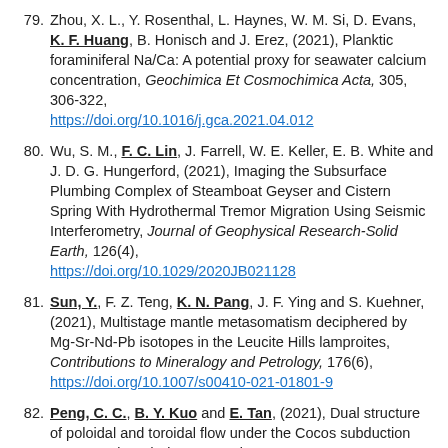79. Zhou, X. L., Y. Rosenthal, L. Haynes, W. M. Si, D. Evans, K. F. Huang, B. Honisch and J. Erez, (2021), Planktic foraminiferal Na/Ca: A potential proxy for seawater calcium concentration, Geochimica Et Cosmochimica Acta, 305, 306-322, https://doi.org/10.1016/j.gca.2021.04.012
80. Wu, S. M., F. C. Lin, J. Farrell, W. E. Keller, E. B. White and J. D. G. Hungerford, (2021), Imaging the Subsurface Plumbing Complex of Steamboat Geyser and Cistern Spring With Hydrothermal Tremor Migration Using Seismic Interferometry, Journal of Geophysical Research-Solid Earth, 126(4), https://doi.org/10.1029/2020JB021128
81. Sun, Y., F. Z. Teng, K. N. Pang, J. F. Ying and S. Kuehner, (2021), Multistage mantle metasomatism deciphered by Mg-Sr-Nd-Pb isotopes in the Leucite Hills lamproites, Contributions to Mineralogy and Petrology, 176(6), https://doi.org/10.1007/s00410-021-01801-9
82. Peng, C. C., B. Y. Kuo and E. Tan, (2021), Dual structure of poloidal and toroidal flow under the Cocos subduction zone, Earth and Planetary Science Letters, 565, https://doi.org/10.1016/j.epsl.2021.116911